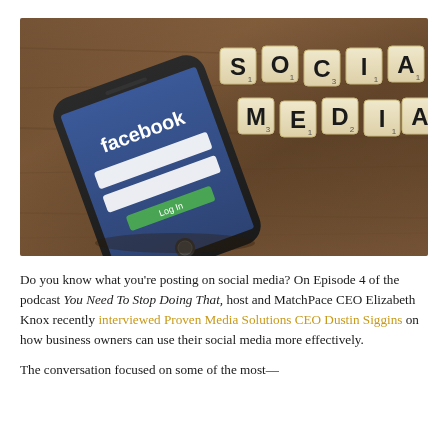[Figure (photo): A smartphone displaying the Facebook login screen lying on a wooden table next to Scrabble tiles spelling out 'SOCIAL MEDIA']
Do you know what you're posting on social media? On Episode 4 of the podcast You Need To Stop Doing That, host and MatchPace CEO Elizabeth Knox recently interviewed Proven Media Solutions CEO Dustin Siggins on how business owners can use their social media more effectively.
The conversation focused on some of the most—